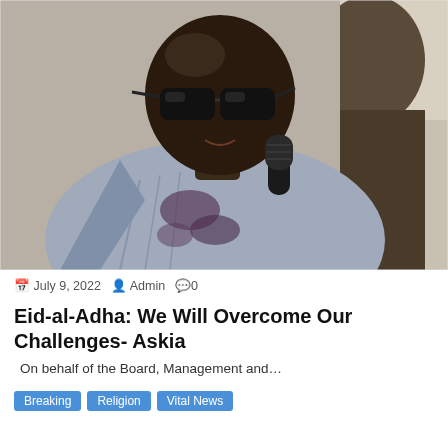[Figure (photo): A man wearing sunglasses and a light blue patterned traditional outfit, speaking into a microphone. He appears to be a middle-aged man with a bald head, photographed from close up.]
July 9, 2022   Admin   0
Eid-al-Adha: We Will Overcome Our Challenges- Askia
On behalf of the Board, Management and…
Breaking   Religion   Vital News